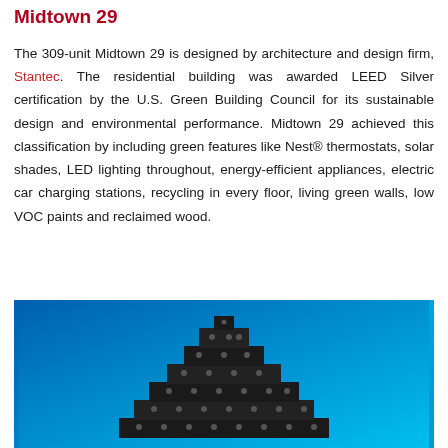Midtown 29
The 309-unit Midtown 29 is designed by architecture and design firm, Stantec. The residential building was awarded LEED Silver certification by the U.S. Green Building Council for its sustainable design and environmental performance. Midtown 29 achieved this classification by including green features like Nest® thermostats, solar shades, LED lighting throughout, energy-efficient appliances, electric car charging stations, recycling in every floor, living green walls, low VOC paints and reclaimed wood.
[Figure (photo): Exterior photo of Midtown 29 building against a blue sky background, showing a dark-colored stepped/pyramidal tower structure]